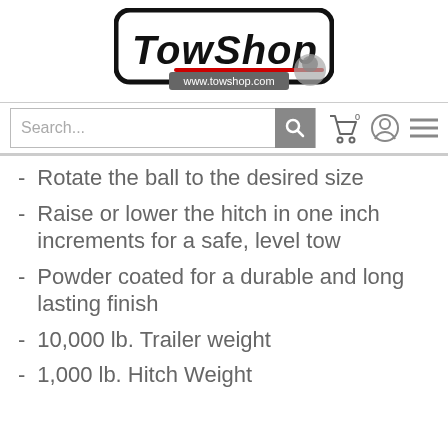[Figure (logo): TowShop logo with www.towshop.com URL and tow ball image]
[Figure (screenshot): Search bar with search icon, cart icon with 0 badge, user icon, and hamburger menu icon]
Rotate the ball to the desired size
Raise or lower the hitch in one inch increments for a safe, level tow
Powder coated for a durable and long lasting finish
10,000 lb. Trailer weight
1,000 lb. Hitch Weight